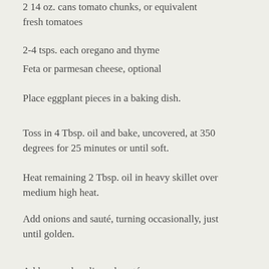2 14 oz. cans tomato chunks, or equivalent fresh tomatoes
2-4 tsps. each oregano and thyme
Feta or parmesan cheese, optional
Place eggplant pieces in a baking dish.
Toss in 4 Tbsp. oil and bake, uncovered, at 350 degrees for 25 minutes or until soft.
Heat remaining 2 Tbsp. oil in heavy skillet over medium high heat.
Add onions and sauté, turning occasionally, just until golden.
Add pressed garlic and sauté.
Mix in peppers, cooked eggplant, zucchini,